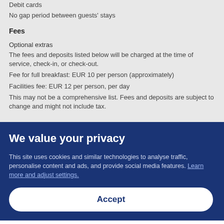Debit cards
No gap period between guests' stays
Fees
Optional extras
The fees and deposits listed below will be charged at the time of service, check-in, or check-out.
Fee for full breakfast: EUR 10 per person (approximately)
Facilities fee: EUR 12 per person, per day
This may not be a comprehensive list. Fees and deposits are subject to change and might not include tax.
We value your privacy
This site uses cookies and similar technologies to analyse traffic, personalise content and ads, and provide social media features. Learn more and adjust settings.
Accept